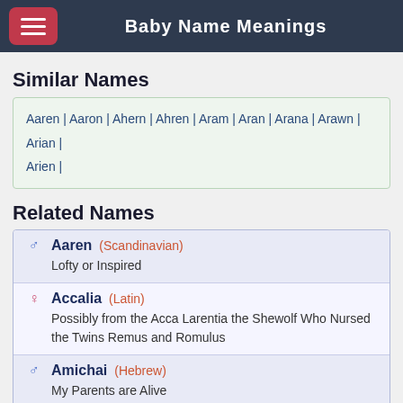Baby Name Meanings
Similar Names
Aaren | Aaron | Ahern | Ahren | Aram | Aran | Arana | Arawn | Arian | Arien |
Related Names
Aaren (Scandinavian) - Lofty or Inspired
Accalia (Latin) - Possibly from the Acca Larentia the Shewolf Who Nursed the Twins Remus and Romulus
Amichai (Hebrew) - My Parents are Alive
Arena (Greek) - Holy One